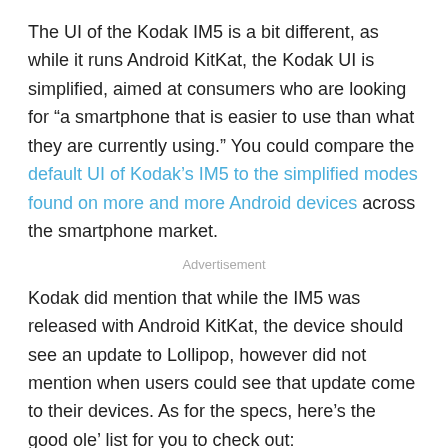The UI of the Kodak IM5 is a bit different, as while it runs Android KitKat, the Kodak UI is simplified, aimed at consumers who are looking for “a smartphone that is easier to use than what they are currently using.” You could compare the default UI of Kodak’s IM5 to the simplified modes found on more and more Android devices across the smartphone market.
Advertisement
Kodak did mention that while the IM5 was released with Android KitKat, the device should see an update to Lollipop, however did not mention when users could see that update come to their devices. As for the specs, here’s the good ole’ list for you to check out:
5 Inch 720×1280 display
5MP front-facing camera